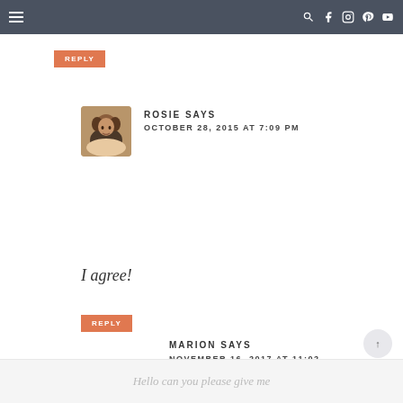Navigation bar with hamburger menu and social icons
REPLY
ROSIE SAYS
OCTOBER 28, 2015 AT 7:09 PM
I agree!
REPLY
MARION SAYS
NOVEMBER 16, 2017 AT 11:02 AM
Hello can you please give me